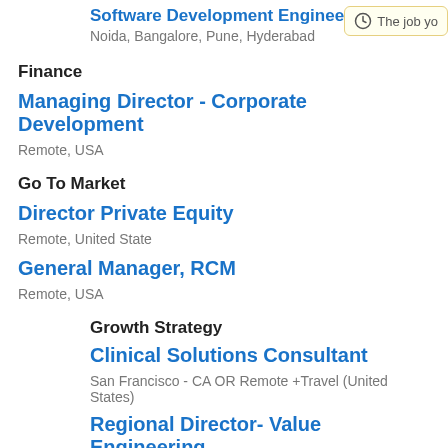Software Development Engineer I (Python)
Noida, Bangalore, Pune, Hyderabad
Finance
Managing Director - Corporate Development
Remote, USA
Go To Market
Director Private Equity
Remote, United State
General Manager, RCM
Remote, USA
Growth Strategy
Clinical Solutions Consultant
San Francisco - CA OR Remote +Travel (United States)
Regional Director- Value Engineering